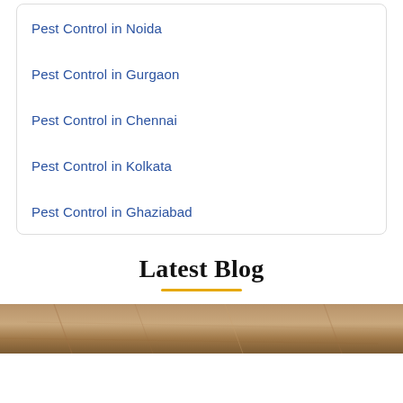Pest Control in Noida
Pest Control in Gurgaon
Pest Control in Chennai
Pest Control in Kolkata
Pest Control in Ghaziabad
Latest Blog
[Figure (photo): A brown wooden surface, partial image at the bottom of the page]